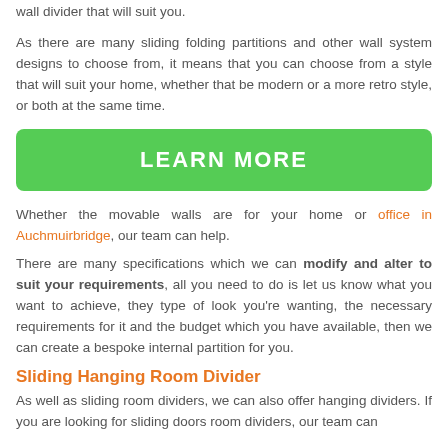wall divider that will suit you.
As there are many sliding folding partitions and other wall system designs to choose from, it means that you can choose from a style that will suit your home, whether that be modern or a more retro style, or both at the same time.
[Figure (other): Green button with white text reading LEARN MORE]
Whether the movable walls are for your home or office in Auchmuirbridge, our team can help.
There are many specifications which we can modify and alter to suit your requirements, all you need to do is let us know what you want to achieve, they type of look you're wanting, the necessary requirements for it and the budget which you have available, then we can create a bespoke internal partition for you.
Sliding Hanging Room Divider
As well as sliding room dividers, we can also offer hanging dividers. If you are looking for sliding doors room dividers, our team can